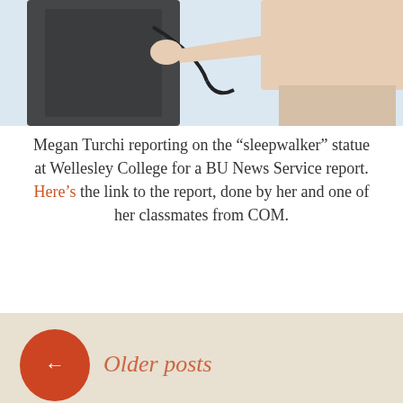[Figure (photo): Two people, one in dark jacket holding a cable/cord, the other shirtless reaching out with one hand, against a snowy/white background. Partial crop showing upper bodies and hands.]
Megan Turchi reporting on the “sleepwalker” statue at Wellesley College for a BU News Service report. Here’s the link to the report, done by her and one of her classmates from COM.
Leave a comment
Older posts